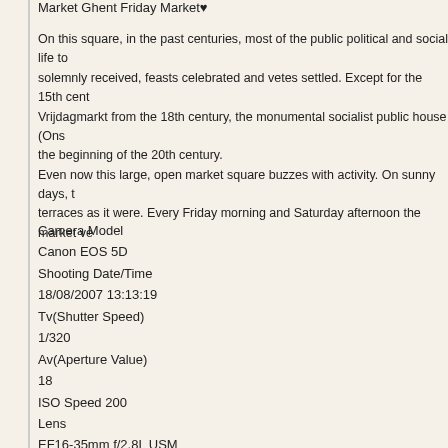Market Ghent Friday Market♥
On this square, in the past centuries, most of the public political and social life to solemnly received, feasts celebrated and vetes settled. Except for the 15th cent Vrijdagmarkt from the 18th century, the monumental socialist public house (Ons the beginning of the 20th century.
Even now this large, open market square buzzes with activity. On sunny days, t terraces as it were. Every Friday morning and Saturday afternoon the market ve
Camera Model
Canon EOS 5D
Shooting Date/Time
18/08/2007 13:13:19
Tv(Shutter Speed)
1/320
Av(Aperture Value)
18
ISO Speed 200
Lens
EF16-35mm f/2.8L USM
Focal Length
16.0mm
Image Size
4368x2912
Image Quality
RAW
Flash Off
Picture Style
Landscape